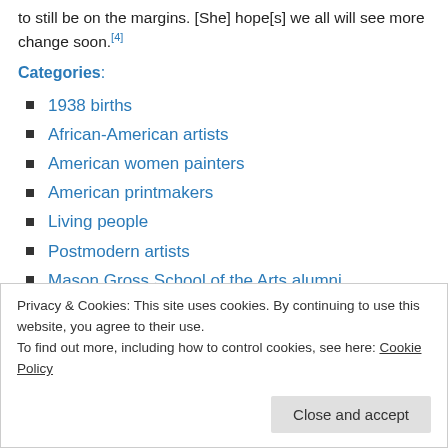to still be on the margins. [She] hope[s] we all will see more change soon.[4]
Categories:
1938 births
African-American artists
American women painters
American printmakers
Living people
Postmodern artists
Mason Gross School of the Arts alumni
Privacy & Cookies: This site uses cookies. By continuing to use this website, you agree to their use. To find out more, including how to control cookies, see here: Cookie Policy